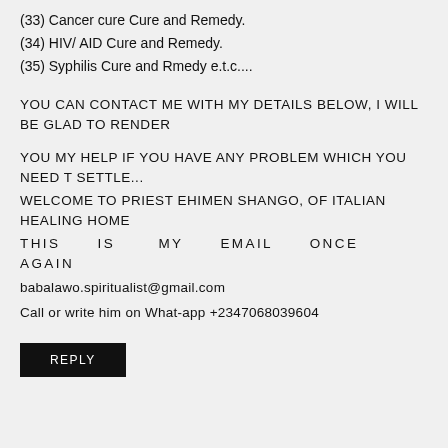(33) Cancer cure Cure and Remedy.
(34) HIV/ AID Cure and Remedy.
(35) Syphilis Cure and Rmedy e.t.c....
YOU CAN CONTACT ME WITH MY DETAILS BELOW, I WILL BE GLAD TO RENDER
YOU MY HELP IF YOU HAVE ANY PROBLEM WHICH YOU NEED T SETTLE...
WELCOME TO PRIEST EHIMEN SHANGO, OF ITALIAN HEALING HOME
THIS IS MY EMAIL ONCE AGAIN
babalawo.spiritualist@gmail.com
Call or write him on What-app +2347068039604